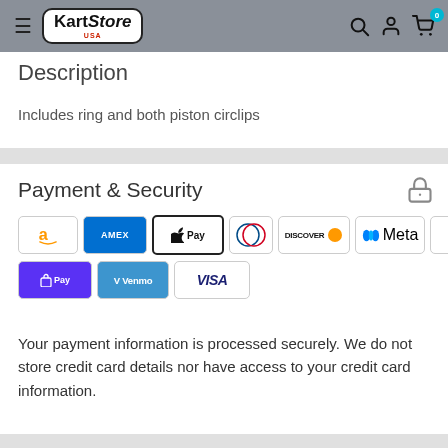KartStore USA — navigation header with search, account, and cart icons
Description
Includes ring and both piston circlips
Payment & Security
[Figure (logo): Payment method icons: Amazon, American Express, Apple Pay, Diners Club, Discover, Meta Pay, Google Pay, Mastercard, PayPal, Shop Pay, Venmo, Visa]
Your payment information is processed securely. We do not store credit card details nor have access to your credit card information.